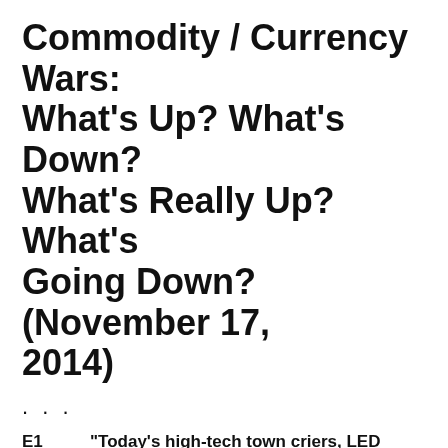Commodity / Currency Wars: What's Up? What's Down? What's Really Up? What's Going Down? (November 17, 2014)
. . .
E1	“Today’s high-tech town criers, LED scoreboards broadcast the news from every street and street corner.  They proclaim that gas prices are down, gas prices are down, gas prices are down.  The most public and publicized scores in our economy are even more prominent than football scores.”
E2	“Is supply up because Saudi Arabia has strategically increased the supply?  Is demand down